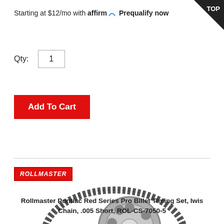Starting at $12/mo with affirm. Prequalify now
Qty: 1
Add To Cart
[Figure (logo): Rollmaster brand logo in red with white italic text]
[Figure (photo): Rollmaster timing chain set with large and small sprockets connected by roller chain]
Rollmaster Pontiac Red Series Pro Billet Timing Set, Iwis Chain, .005 Short, ROL-CS-7050-5